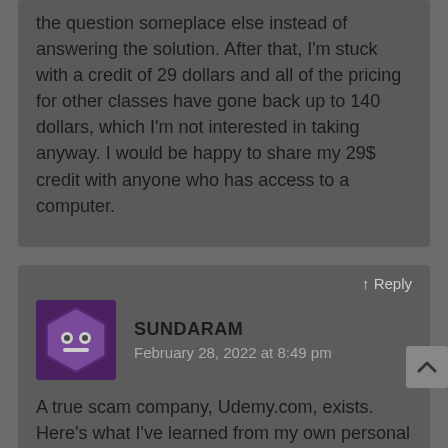the question someplace else instead of answering the solution. After that, I'm stuck with a credit of 29 dollars and all of the pricing for other classes have gone back up to 140 dollars, which I'm not interested in taking anyway. I would be happy to share my 29$ credit with anyone who has access to a computer.
↑ Reply
SUNDARAM
February 28, 2022 at 8:49 pm
A true scam company, Udemy.com, exists. Here's what I've learned from my own personal experiences: Using my phone wallet, I purchased three courses from Udemy for a total of 1080 INR. Access to the courses I purchased has not been granted to me. Udemy customer support stated that they had not